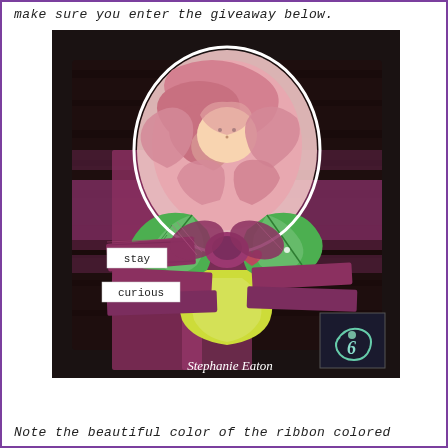make sure you enter the giveaway below.
[Figure (photo): A craft art piece on a dark wooden board featuring a large pink rose with a face (mixed media character), green leaves, a yellow-green stem/vase shape, pink/burgundy distressed ribbon tied in a bow, and two small word tags reading 'stay' and 'curious'. Watermark reads 'Stephanie Eaton' with a small logo in bottom right corner.]
Note the beautiful color of the ribbon colored